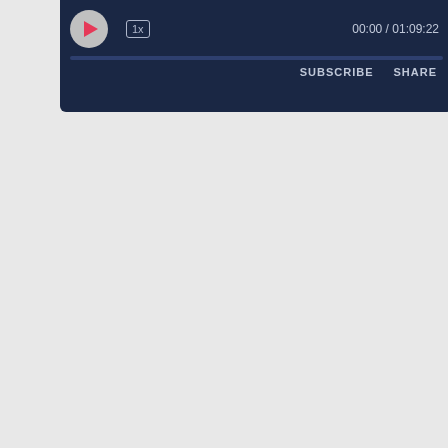[Figure (screenshot): Audio player widget with dark navy background showing play button, 1x speed control, time display 00:00 / 01:09:22, SUBSCRIBE and SHARE buttons, and a thin progress bar.]
[Figure (screenshot): YouTube video embed thumbnail for '#700 WP-Tonic This Week In WordPress & Tec...' showing the WP-Tonic channel avatar, WordPress logo on dark background, YouTube play button icon, text reading FRIDAY, THIS WEEKS SPE[AKER], HEATHER R[OBERTSON], and partial label #700 WP-Tonic This W...]